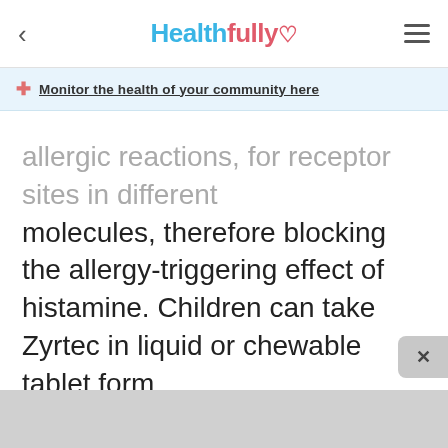Healthfully
Monitor the health of your community here
allergic reactions, for receptor sites in different molecules, therefore blocking the allergy-triggering effect of histamine. Children can take Zyrtec in liquid or chewable tablet form.